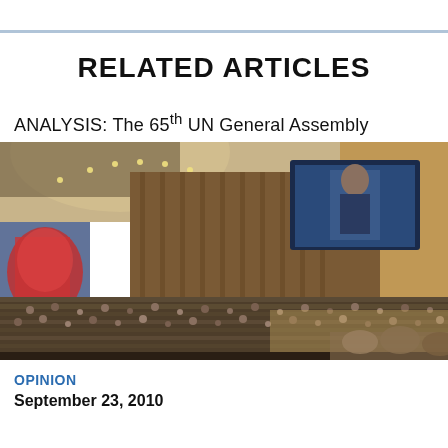RELATED ARTICLES
ANALYSIS: The 65th UN General Assembly
[Figure (photo): Wide-angle photograph of the UN General Assembly hall filled with delegates, showing the large wooden paneled wall, a large screen displaying a speaker, and the colorful UN emblem on the left side wall.]
OPINION
September 23, 2010